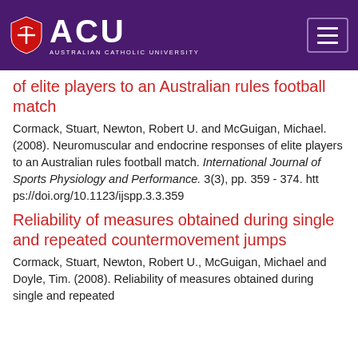ACU - Australian Catholic University
of elite players to an Australian rules football match
Cormack, Stuart, Newton, Robert U. and McGuigan, Michael. (2008). Neuromuscular and endocrine responses of elite players to an Australian rules football match. International Journal of Sports Physiology and Performance. 3(3), pp. 359 - 374. https://doi.org/10.1123/ijspp.3.3.359
Reliability of measures obtained during single and repeated countermovement jumps
Cormack, Stuart, Newton, Robert U., McGuigan, Michael and Doyle, Tim. (2008). Reliability of measures obtained during single and repeated